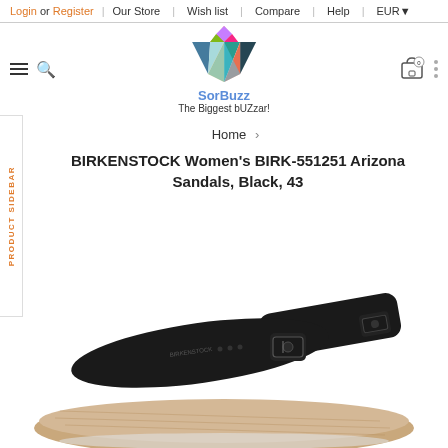Login or Register | Our Store | Wish list | Compare | Help | EUR
[Figure (logo): SorBuzz diamond-shaped colorful logo with text 'SorBuzz' and tagline 'The Biggest bUZzar!']
PRODUCT SIDEBAR
Home > BIRKENSTOCK Women's BIRK-551251 Arizona Sandals, Black, 43
[Figure (photo): Black Birkenstock Arizona sandal with two buckle straps on a tan cork footbed, photographed from above at an angle]